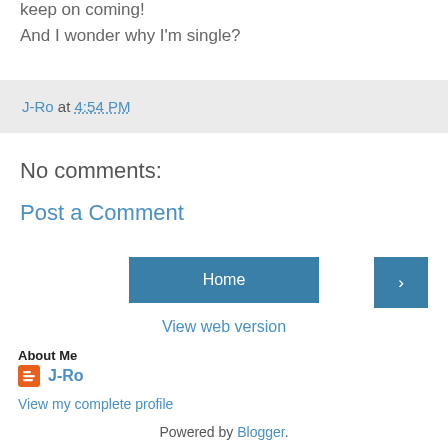keep on coming!
And I wonder why I'm single?
J-Ro at 4:54 PM
No comments:
Post a Comment
Home
›
View web version
About Me
J-Ro
View my complete profile
Powered by Blogger.